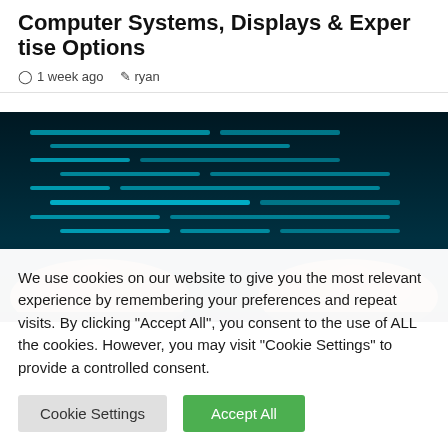Computer Systems, Displays & Expertise Options
1 week ago   ryan
[Figure (photo): Hands on a keyboard with glowing blue code/text on a dark screen in the background]
We use cookies on our website to give you the most relevant experience by remembering your preferences and repeat visits. By clicking "Accept All", you consent to the use of ALL the cookies. However, you may visit "Cookie Settings" to provide a controlled consent.
Cookie Settings   Accept All